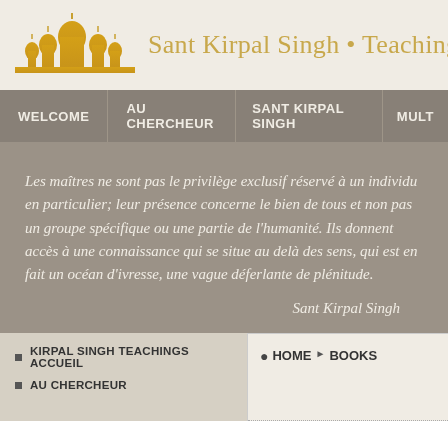Sant Kirpal Singh • Teachings
[Figure (logo): Gold silhouette skyline/temple logo for Sant Kirpal Singh Teachings website]
WELCOME | AU CHERCHEUR | SANT KIRPAL SINGH | MULT
Les maîtres ne sont pas le privilège exclusif réservé à un individu en particulier; leur présence concerne le bien de tous et non pas un groupe spécifique ou une partie de l'humanité. Ils donnent accès à une connaissance qui se situe au delà des sens, qui est en fait un océan d'ivresse, une vague déferlante de plénitude.
Sant Kirpal Singh
KIRPAL SINGH TEACHINGS ACCUEIL
AU CHERCHEUR
HOME ▶ BOOKS